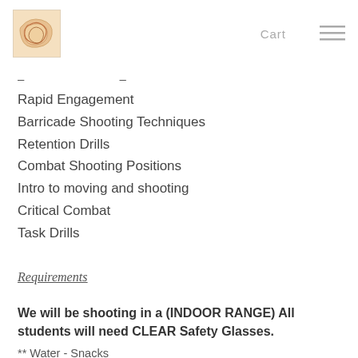Cart ≡
- -
Rapid Engagement
Barricade Shooting Techniques
Retention Drills
Combat Shooting Positions
Intro to moving and shooting
Critical Combat
Task Drills
Requirements
We will be shooting in a (INDOOR RANGE) All students will need CLEAR Safety Glasses.
** Water - Snacks
-Lunch etc..
Semi Auto